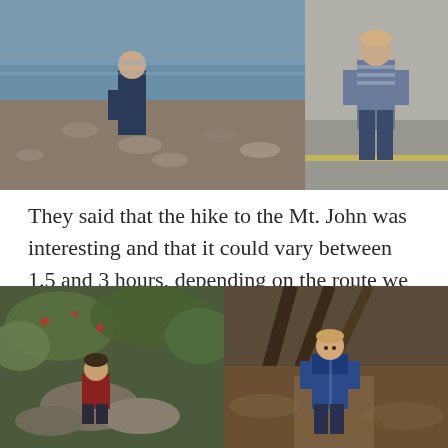[Figure (photo): Two photos side by side at top: left photo shows a child standing near a rocky shoreline/lake; right photo shows a person standing outdoors on a paved area.]
They said that the hike to the Mt. John was interesting and that it could vary between 1.5 and 3 hours, depending on the route we took. This sounded about right, so we drove to Tekapo Springs and started our hike.
[Figure (photo): Two photos side by side at bottom: left photo shows a child sitting on rocks among green vegetation; right photo shows a boy standing on a forest path with trees leaning overhead.]